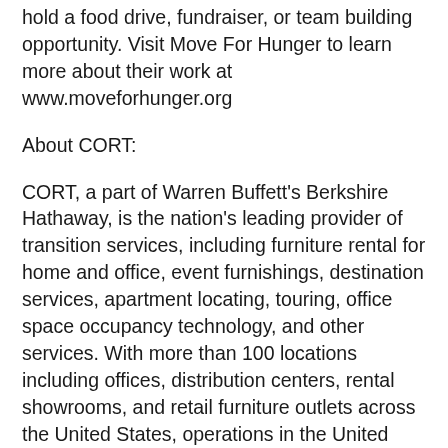hold a food drive, fundraiser, or team building opportunity. Visit Move For Hunger to learn more about their work at www.moveforhunger.org
About CORT:
CORT, a part of Warren Buffett's Berkshire Hathaway, is the nation's leading provider of transition services, including furniture rental for home and office, event furnishings, destination services, apartment locating, touring, office space occupancy technology, and other services. With more than 100 locations including offices, distribution centers, rental showrooms, and retail furniture outlets across the United States, operations in the United Kingdom, and partners in more than 80